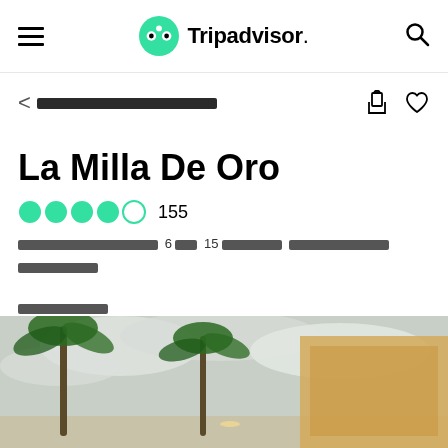Tripadvisor
< [redacted breadcrumb]
La Milla De Oro
4 out of 5 circles  155
[redacted] 6 [redacted] 15 [redacted] [redacted]
[redacted link]
[Figure (photo): Outdoor photo showing palm trees and a building under a cloudy sky]